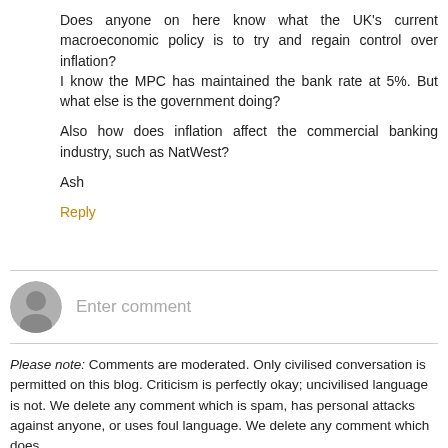Does anyone on here know what the UK's current macroeconomic policy is to try and regain control over inflation?
I know the MPC has maintained the bank rate at 5%. But what else is the government doing?

Also how does inflation affect the commercial banking industry, such as NatWest?

Ash
Reply
[Figure (illustration): Generic user avatar icon — grey silhouette of a person on a light grey circle background]
Enter comment
Please note: Comments are moderated. Only civilised conversation is permitted on this blog. Criticism is perfectly okay; uncivilised language is not. We delete any comment which is spam, has personal attacks against anyone, or uses foul language. We delete any comment which does